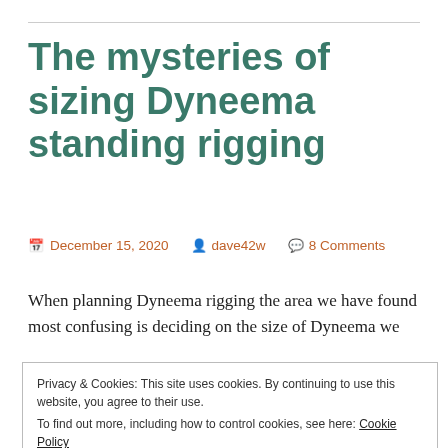The mysteries of sizing Dyneema standing rigging
December 15, 2020  dave42w  8 Comments
When planning Dyneema rigging the area we have found most confusing is deciding on the size of Dyneema we
Privacy & Cookies: This site uses cookies. By continuing to use this website, you agree to their use.
To find out more, including how to control cookies, see here: Cookie Policy
Close and accept
n Dyneema has the same strength as the Stainless Steel it